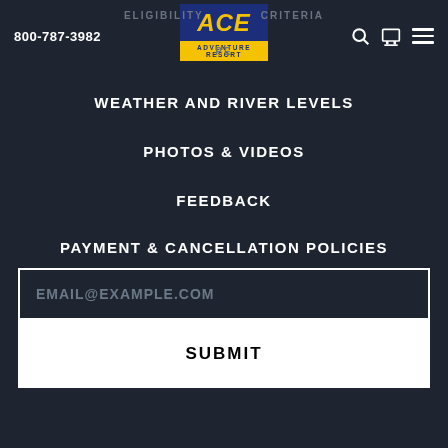800-787-3982
[Figure (logo): ACE Adventure Resort logo — blue background with yellow ACE text, yellow bottom bar with ADVENTURE RESORT text]
ELIGIBILITY CRITERIA
PE...
WEATHER AND RIVER LEVELS
PHOTOS & VIDEOS
FEEDBACK
PAYMENT & CANCELLATION POLICIES
EMAIL@EXAMPLE.COM
SUBMIT